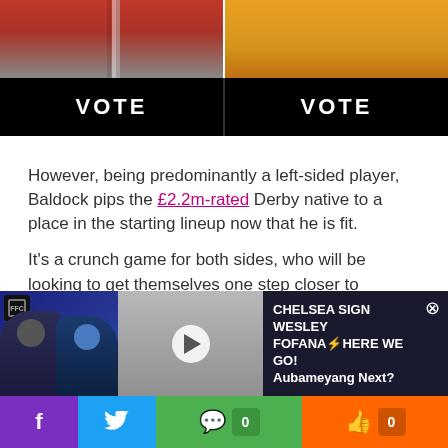[Figure (photo): Two player photos side by side - left shows a red and white striped jersey player, right shows a goalkeeper in orange kit]
[Figure (infographic): Two black VOTE buttons side by side]
However, being predominantly a left-sided player, Baldock pips the £2.2m-rated Derby native to a place in the starting lineup now that he is fit.
It's a crunch game for both sides, who will be looking to get themselves one step closer to Wembley after today's showdown at Bramall Lane.
AND in other news: This is the Forest predicted XI that FFC is forecasting
[Figure (screenshot): Video banner: CHELSEA SIGN WESLEY FOFANA⚡HERE WE GO! Aubameyang Next? with player photos and video thumbnail]
[Figure (infographic): Social sharing bar with Facebook, Twitter, comment count (0), and like count (0) buttons]